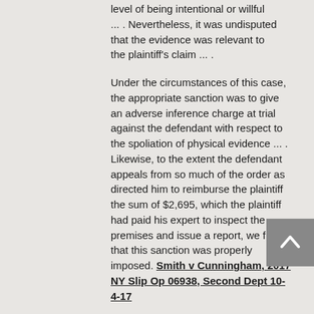level of being intentional or willful ... . Nevertheless, it was undisputed that the evidence was relevant to the plaintiff's claim ... .
Under the circumstances of this case, the appropriate sanction was to give an adverse inference charge at trial against the defendant with respect to the spoliation of physical evidence ... . Likewise, to the extent the defendant appeals from so much of the order as directed him to reimburse the plaintiff the sum of $2,695, which the plaintiff had paid his expert to inspect the premises and issue a report, we find that this sanction was properly imposed. Smith v Cunningham, 2017 NY Slip Op 06938, Second Dept 10-4-17